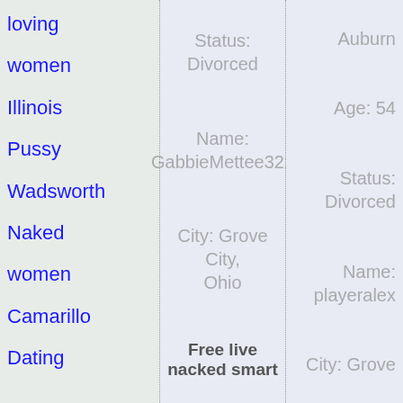loving
women
Illinois
Pussy
Wadsworth
Naked
women
Camarillo
Dating
Status: Divorced
Name: GabbieMettee322
City: Grove City, Ohio
Free live nacked smart
Auburn
Age: 54
Status: Divorced
Name: playeralex
City: Grove